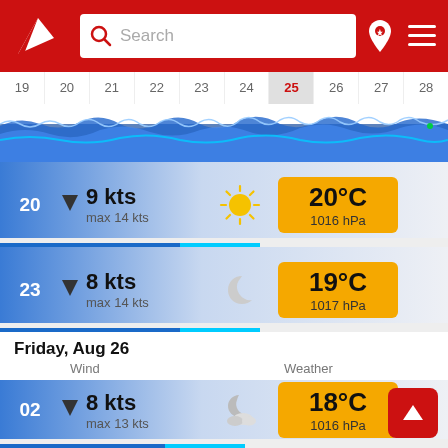[Figure (screenshot): App header with red background, white sailing logo, search bar, location pin icon, and hamburger menu]
[Figure (infographic): Horizontal date selector showing dates 19-28, date 25 highlighted/active in grey]
[Figure (infographic): Wave/wind chart strip showing blue wave pattern across dates]
20  ▼  9 kts  max 14 kts  20°C  1016 hPa
23  ▼  8 kts  max 14 kts  19°C  1017 hPa
Friday, Aug 26
Wind   Weather
02  ▼  8 kts  max 13 kts  18°C  1016 hPa
05  ▼  8 kts  max 12 kts  17°C  1016 hPa